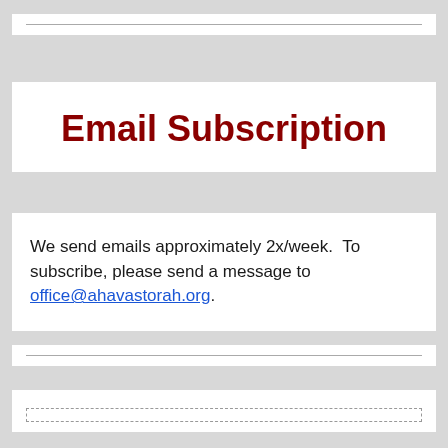Email Subscription
We send emails approximately 2x/week.  To subscribe, please send a message to office@ahavastorah.org.
Subscription